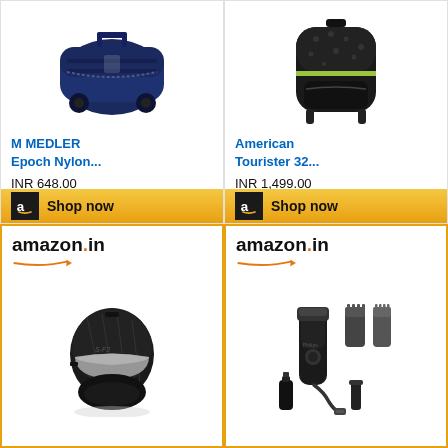[Figure (photo): M MEDLER Epoch Nylon blue wheeled duffel bag product listing on Amazon. Title: M MEDLER Epoch Nylon..., Price: INR 648.00, Shop now button with Amazon logo.]
[Figure (photo): American Tourister black backpack product listing on Amazon. Title: American Tourister 32..., Price: INR 1,499.00, Shop now button with Amazon logo.]
[Figure (photo): Amazon.in ad card showing a black motorcycle helmet product.]
[Figure (photo): Amazon.in ad card showing a black beard trimmer/grooming kit with accessories.]